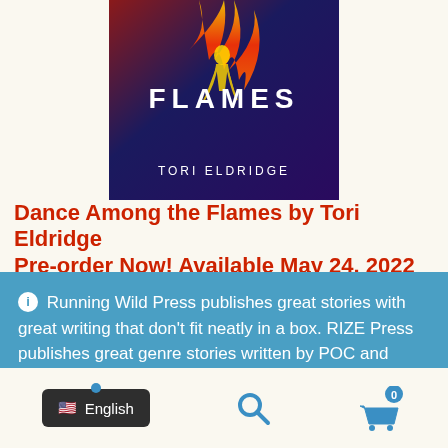[Figure (illustration): Book cover for 'Dance Among the Flames' by Tori Eldridge showing colorful flames and a figure, with title text 'THE FLAMES' and author name 'TORI ELDRIDGE']
Dance Among the Flames by Tori Eldridge
Pre-order Now! Available May 24, 2022
Running Wild Press publishes great stories with great writing that don't fit neatly in a box. RIZE Press publishes great genre stories written by POC and other underrepresented groups.
Dismiss